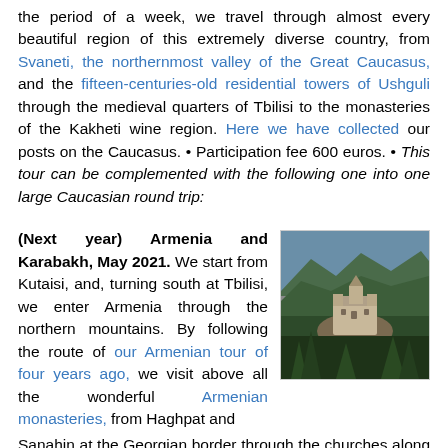the period of a week, we travel through almost every beautiful region of this extremely diverse country, from Svaneti, the northernmost valley of the Great Caucasus, and the fifteen-centuries-old residential towers of Ushguli through the medieval quarters of Tbilisi to the monasteries of the Kakheti wine region. Here we have collected our posts on the Caucasus. • Participation fee 600 euros. • This tour can be complemented with the following one into one large Caucasian round trip:
(Next year) Armenia and Karabakh, May 2021. We start from Kutaisi, and, turning south at Tbilisi, we enter Armenia through the northern mountains. By following the route of our Armenian tour of four years ago, we visit above all the wonderful Armenian monasteries, from Haghpat and Sanahin at the Georgian border through the churches along Lake Sevan to Tatev in the south and Khor Virap at the foot of Mount Ararat, and, on the way back, to Bjni. We will see particular cemeteries, from the Armenian Noratus through the Jewish Yeghegis to the Molokan Bazarchay. We pass
[Figure (photo): Photo of an Armenian monastery on a rocky hilltop surrounded by forested mountains]